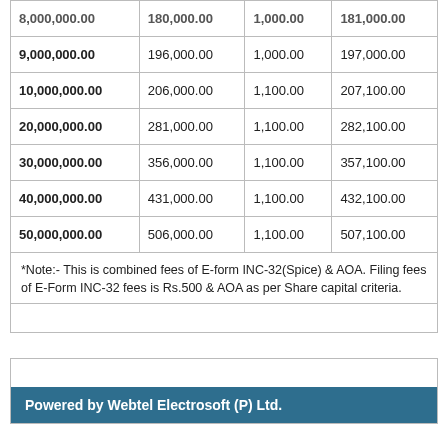|  |  |  |  |
| --- | --- | --- | --- |
| 8,000,000.00 | 180,000.00 | 1,000.00 | 181,000.00 |
| 9,000,000.00 | 196,000.00 | 1,000.00 | 197,000.00 |
| 10,000,000.00 | 206,000.00 | 1,100.00 | 207,100.00 |
| 20,000,000.00 | 281,000.00 | 1,100.00 | 282,100.00 |
| 30,000,000.00 | 356,000.00 | 1,100.00 | 357,100.00 |
| 40,000,000.00 | 431,000.00 | 1,100.00 | 432,100.00 |
| 50,000,000.00 | 506,000.00 | 1,100.00 | 507,100.00 |
*Note:- This is combined fees of E-form INC-32(Spice) & AOA. Filing fees of E-Form INC-32 fees is Rs.500 & AOA as per Share capital criteria.
Powered by Webtel Electrosoft (P) Ltd.